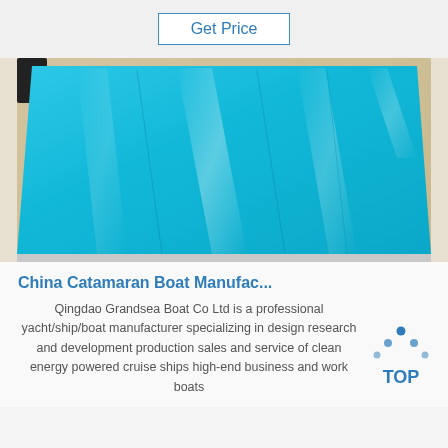Get Price
[Figure (photo): Blue aluminum or fiberglass sheet material photographed from above on a tan/brown surface, showing reflective light streaks]
China Catamaran Boat Manufac...
Qingdao Grandsea Boat Co Ltd is a professional yacht/ship/boat manufacturer specializing in design research and development production sales and service of clean energy powered cruise ships high-end business and work boats
[Figure (logo): TOP logo with blue dots arranged in a triangle above the word TOP in blue]